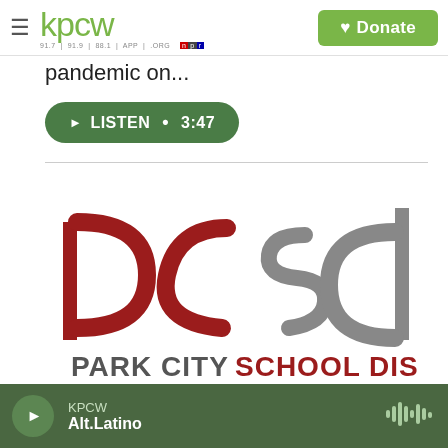kpcw — 91.7 | 91.9 | 88.1 | APP | .ORG — NPR — Donate
pandemic on...
▶  LISTEN • 3:47
[Figure (logo): Park City School District (PCSD) logo: 'pc' in dark red/crimson arcs and 'sd' in gray arcs above the text 'PARK CITY SCHOOL DISTRICT' in bold]
Local News
KPCW — Alt.Latino (player bar)